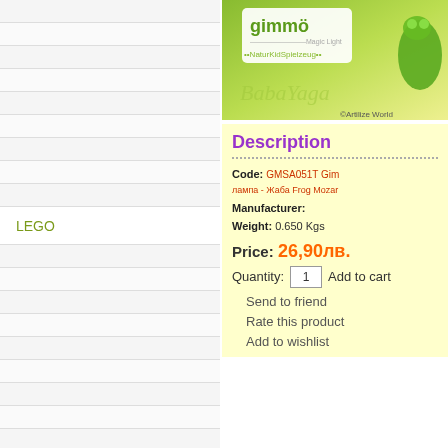LEGO
Bricks for children
Puzzles for children
[Figure (photo): Product image of Gimmo frog lamp with green background and Baba Yaga watermark, copyright Artilize World]
Description
Code: GMSA051T Gimmo лампа - Жаба Frog Mozar
Manufacturer:
Weight: 0.650 Kgs
Price: 26,90лв.
Quantity: 1  Add to cart
Send to friend
Rate this product
Add to wishlist